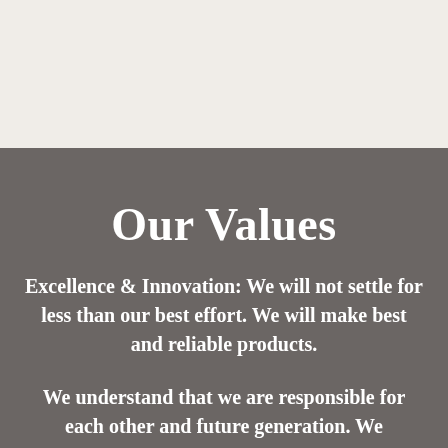Our Values
Excellence & Innovation: We will not settle for less than our best effort. We will make best and reliable products.
We understand that we are responsible for each other and future generation. We